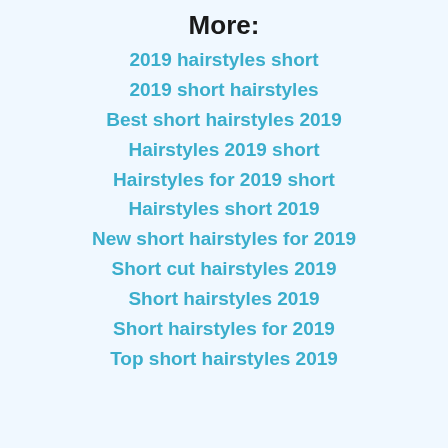More:
2019 hairstyles short
2019 short hairstyles
Best short hairstyles 2019
Hairstyles 2019 short
Hairstyles for 2019 short
Hairstyles short 2019
New short hairstyles for 2019
Short cut hairstyles 2019
Short hairstyles 2019
Short hairstyles for 2019
Top short hairstyles 2019